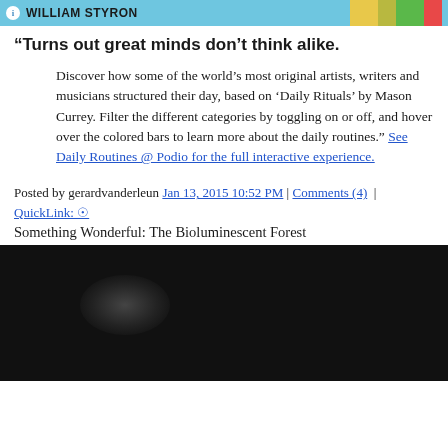WILLIAM STYRON
"Turns out great minds don’t think alike.
Discover how some of the world’s most original artists, writers and musicians structured their day, based on ‘Daily Rituals’ by Mason Currey. Filter the different categories by toggling on or off, and hover over the colored bars to learn more about the daily routines." See Daily Routines @ Podio for the full interactive experience.
Posted by gerardvanderleun Jan 13, 2015 10:52 PM | Comments (4) | QuickLink: ⊙
Something Wonderful: The Bioluminescent Forest
[Figure (photo): Dark image, likely a dark forest or bioluminescent scene with faint glow visible]